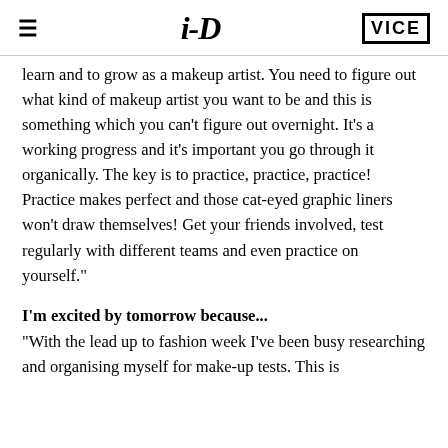≡   i-D   VICE
learn and to grow as a makeup artist. You need to figure out what kind of makeup artist you want to be and this is something which you can't figure out overnight. It's a working progress and it's important you go through it organically. The key is to practice, practice, practice! Practice makes perfect and those cat-eyed graphic liners won't draw themselves! Get your friends involved, test regularly with different teams and even practice on yourself."
I'm excited by tomorrow because...
"With the lead up to fashion week I've been busy researching and organising myself for make-up tests. This is